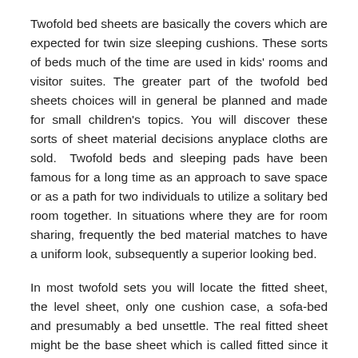Twofold bed sheets are basically the covers which are expected for twin size sleeping cushions. These sorts of beds much of the time are used in kids' rooms and visitor suites. The greater part of the twofold bed sheets choices will in general be planned and made for small children's topics. You will discover these sorts of sheet material decisions anyplace cloths are sold. Twofold beds and sleeping pads have been famous for a long time as an approach to save space or as a path for two individuals to utilize a solitary bed room together. In situations where they are for room sharing, frequently the bed material matches to have a uniform look, subsequently a superior looking bed.
In most twofold sets you will locate the fitted sheet, the level sheet, only one cushion case, a sofa-bed and presumably a bed unsettle. The real fitted sheet might be the base sheet which is called fitted since it offers pockets, which are made up from adaptable materials, which fit round all the edges of the bed sleeping pad.
Normally you can get one pillowcase that is matched with the